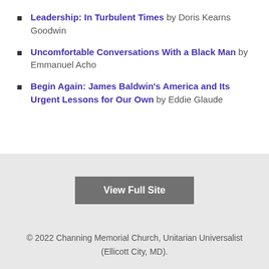Leadership: In Turbulent Times by Doris Kearns Goodwin
Uncomfortable Conversations With a Black Man by Emmanuel Acho
Begin Again: James Baldwin's America and Its Urgent Lessons for Our Own by Eddie Glaude
[Figure (other): View Full Site button]
© 2022 Channing Memorial Church, Unitarian Universalist (Ellicott City, MD).